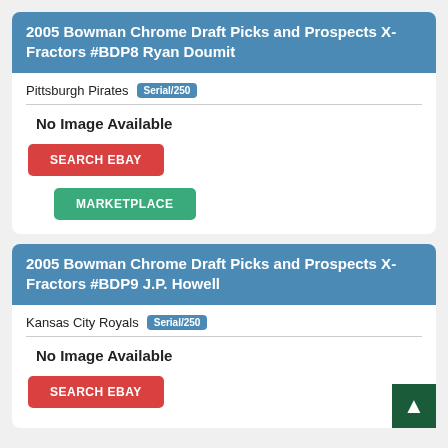2005 Bowman Chrome Draft Picks and Prospects X-Fractors #BDP8 Ryan Doumit
Pittsburgh Pirates  Serial/250
No Image Available
SEARCH EBAY
MARKETPLACE
2005 Bowman Chrome Draft Picks and Prospects X-Fractors #BDP9 J.P. Howell
Kansas City Royals  Serial/250
No Image Available